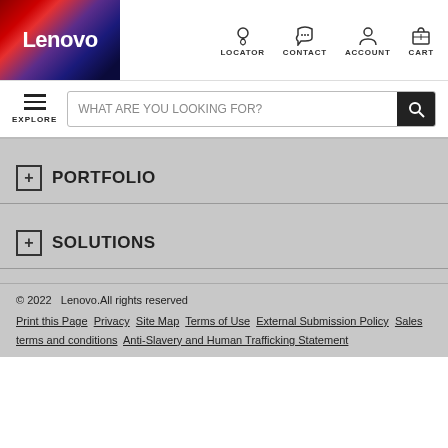[Figure (logo): Lenovo logo on gradient background (red to purple to dark blue)]
LOCATOR  CONTACT  ACCOUNT  CART
EXPLORE  WHAT ARE YOU LOOKING FOR?
+ PORTFOLIO
+ SOLUTIONS
© 2022  Lenovo.All rights reserved
Print this Page  Privacy  Site Map  Terms of Use  External Submission Policy  Sales terms and conditions  Anti-Slavery and Human Trafficking Statement